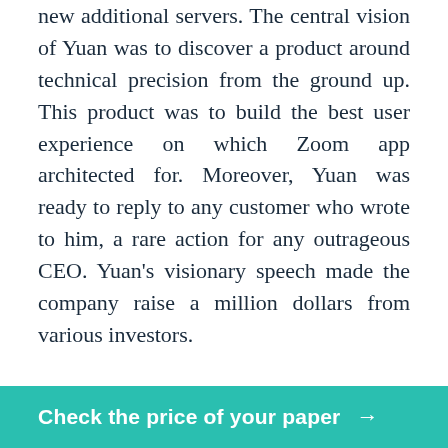new additional servers. The central vision of Yuan was to discover a product around technical precision from the ground up. This product was to build the best user experience on which Zoom app architected for. Moreover, Yuan was ready to reply to any customer who wrote to him, a rare action for any outrageous CEO. Yuan's visionary speech made the company raise a million dollars from various investors.
Today, Zoom has continually expanded its base in various countries worldwide because of its flexible cost and reliability. Its free version hosts up to 100 video participants at once. Its ability to pick different backgrounds also makes it more suitable for users (Correia et al. 429). Zoom is more comfortable and more robust than the other videoconferencing
Check the price of your paper →